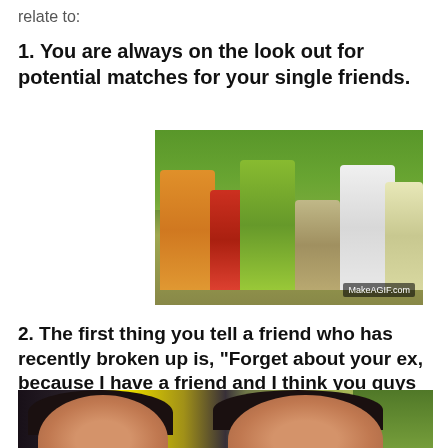relate to:
1. You are always on the look out for potential matches for your single friends.
[Figure (photo): A still from a Bollywood movie showing a group of people in colorful clothing dancing or celebrating outdoors, with trees in background. Watermark: MakeAGIF.com]
2. The first thing you tell a friend who has recently broken up is, "Forget about your ex, because I have a friend and I think you guys will really hit it off."
[Figure (photo): Bottom portion of image showing two women's faces, one on the left with dark hair, one on the right with lighter complexion, green background on right side]